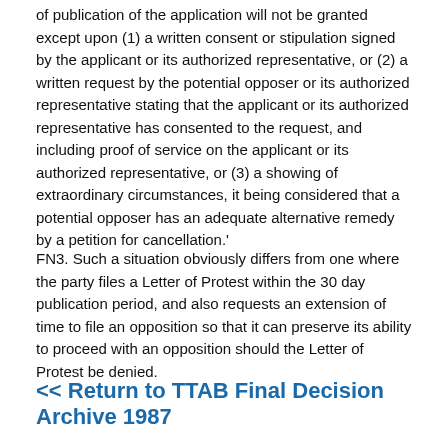of publication of the application will not be granted except upon (1) a written consent or stipulation signed by the applicant or its authorized representative, or (2) a written request by the potential opposer or its authorized representative stating that the applicant or its authorized representative has consented to the request, and including proof of service on the applicant or its authorized representative, or (3) a showing of extraordinary circumstances, it being considered that a potential opposer has an adequate alternative remedy by a petition for cancellation.'
FN3. Such a situation obviously differs from one where the party files a Letter of Protest within the 30 day publication period, and also requests an extension of time to file an opposition so that it can preserve its ability to proceed with an opposition should the Letter of Protest be denied.
<< Return to TTAB Final Decision Archive 1987